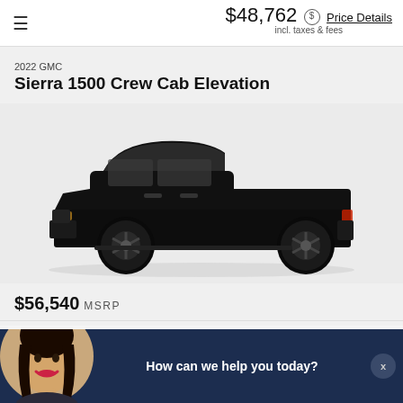$48,762 Price Details incl. taxes & fees
2022 GMC
Sierra 1500 Crew Cab Elevation
[Figure (photo): Side profile of a 2022 GMC Sierra 1500 Crew Cab Elevation in black]
$56,540 MSRP
How can we help you today?